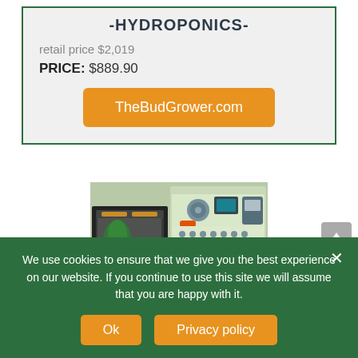-HYDROPONICS-
retail price $2,019
PRICE: $889.90
[Figure (other): Orange button linking to TheBudGrower.com]
[Figure (photo): Hydroponics grow kit product photo showing a grow tent with plants inside and various accessories and nutrients on the right side.]
We use cookies to ensure that we give you the best experience on our website. If you continue to use this site we will assume that you are happy with it.
[Figure (other): Ok button and Privacy policy button in cookie consent banner]